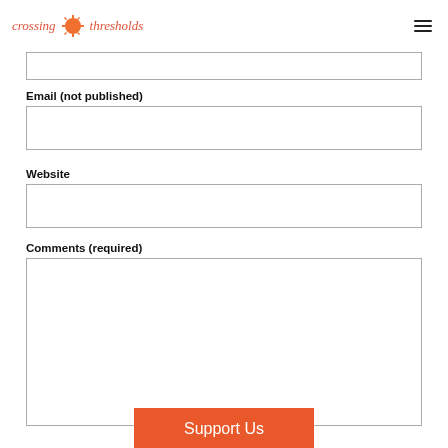crossing thresholds
Email (not published)
Website
Comments (required)
Support Us